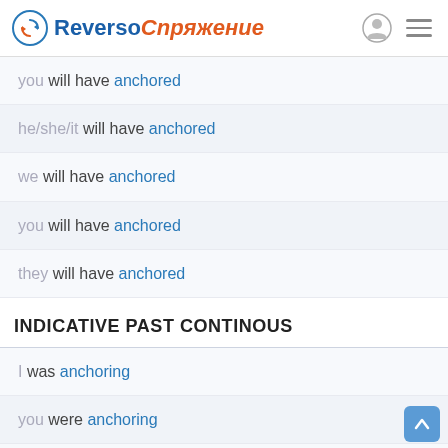Reverso Спряжение
you will have anchored
he/she/it will have anchored
we will have anchored
you will have anchored
they will have anchored
INDICATIVE PAST CONTINOUS
I was anchoring
you were anchoring
he/she/it was anchoring
we were anchoring